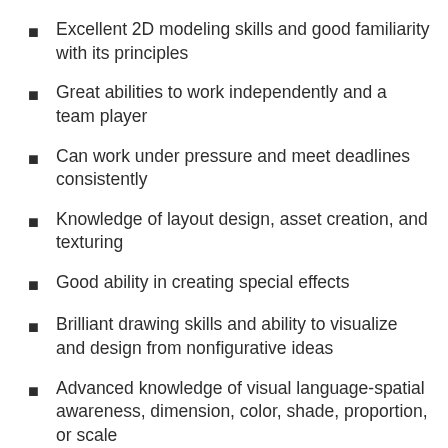Excellent 2D modeling skills and good familiarity with its principles
Great abilities to work independently and a team player
Can work under pressure and meet deadlines consistently
Knowledge of layout design, asset creation, and texturing
Good ability in creating special effects
Brilliant drawing skills and ability to visualize and design from nonfigurative ideas
Advanced knowledge of visual language-spatial awareness, dimension, color, shade, proportion, or scale
Greatly skilled in visual storytelling